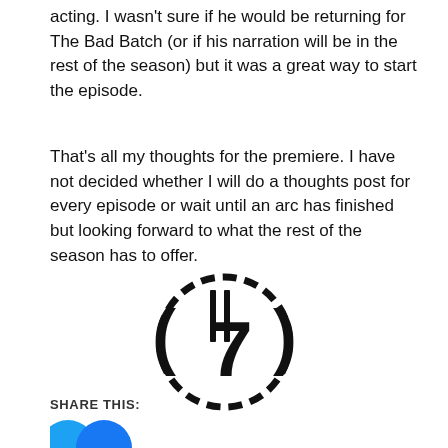acting. I wasn't sure if he would be returning for The Bad Batch (or if his narration will be in the rest of the season) but it was a great way to start the episode.
That's all my thoughts for the premiere. I have not decided whether I will do a thoughts post for every episode or wait until an arc has finished but looking forward to what the rest of the season has to offer.
[Figure (logo): Circular dashed badge logo with a stylized number 7 and two vertical lines inside, drawn in black]
SHARE THIS:
[Figure (illustration): Two circular share/social media icon buttons (blue circles) partially visible at the bottom]